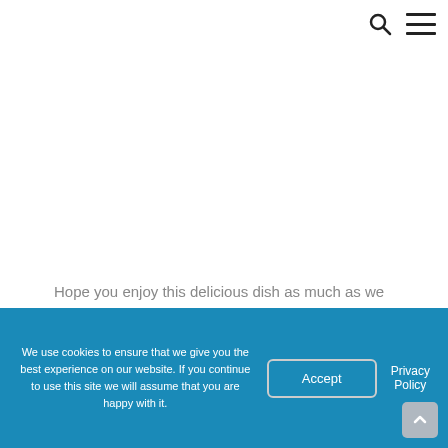Search and menu icons in top-right corner
Hope you enjoy this delicious dish as much as we do! It's definitely going to be making plenty of appearances on our meal plan rotation.
We use cookies to ensure that we give you the best experience on our website. If you continue to use this site we will assume that you are happy with it.  Accept  Privacy Policy